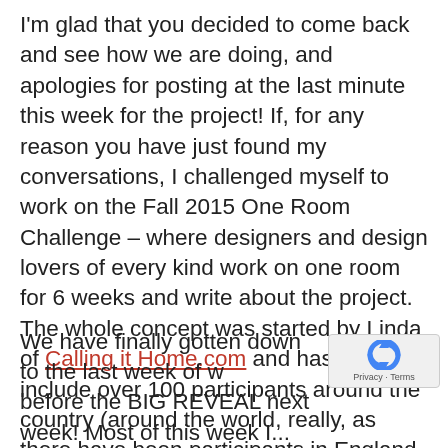I'm glad that you decided to come back and see how we are doing, and apologies for posting at the last minute this week for the project!  If, for any reason you have just found my conversations, I challenged myself to work on the Fall 2015 One Room Challenge – where designers and design lovers of every kind work on one room for 6 weeks and write about the project.  The whole concept was started by Linda of Calling it Home.com and has grown to include over 100 participants around the country (around the world, really, as there have been participants in England and Australia also!)  Its easy to get hooked, so be sure and check out the Main Affair as well as the other Guest participants!
We have finally gotten down to the last week of w... before the BIG REVEAL next week! Most of this week I...